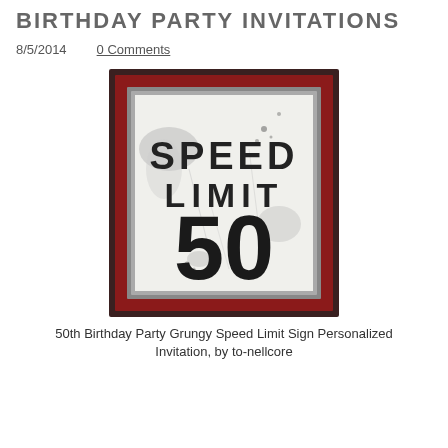BIRTHDAY PARTY INVITATIONS
8/5/2014    0 Comments
[Figure (illustration): A grungy speed limit sign styled birthday party invitation. The sign reads 'SPEED LIMIT 50' in bold black text on a weathered white background with gray paint splatters and scratches. The sign has a dark brown outer border with a red inner border and a metallic gray inner frame.]
50th Birthday Party Grungy Speed Limit Sign Personalized Invitation, by to-nellcore